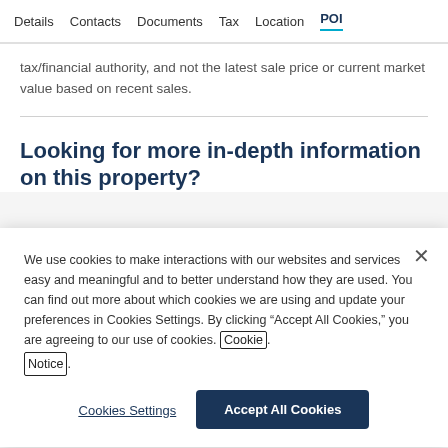Details  Contacts  Documents  Tax  Location  POI
tax/financial authority, and not the latest sale price or current market value based on recent sales.
Looking for more in-depth information on this property?
We use cookies to make interactions with our websites and services easy and meaningful and to better understand how they are used. You can find out more about which cookies we are using and update your preferences in Cookies Settings. By clicking “Accept All Cookies,” you are agreeing to our use of cookies. Cookie Notice.
Cookies Settings
Accept All Cookies